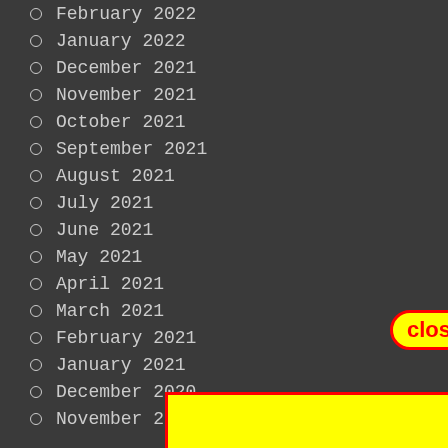February 2022
January 2022
December 2021
November 2021
October 2021
September 2021
August 2021
July 2021
June 2021
May 2021
April 2021
March 2021
February 2021
January 2021
December 2020
November 2020
[Figure (screenshot): Yellow rectangle overlay with red border covering lower portion of list, and a yellow 'close' button with red border and red text positioned above-right.]